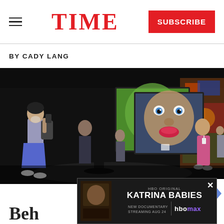TIME
BY CADY LANG
[Figure (photo): Gallery or exhibition space with large illuminated screens showing close-up face images — a green-tinted face on the left screen and a child's face with blue eyes on the right. Visitors with masks view and photograph the displays in a dark, spacious warehouse-like venue. Colorful graffiti-style artwork visible on the right wall.]
[Figure (other): Advertisement for HBO Original documentary 'Katrina Babies' — New documentary streaming Aug 24 on HBO Max. Shows movie poster on left side.]
Beh…